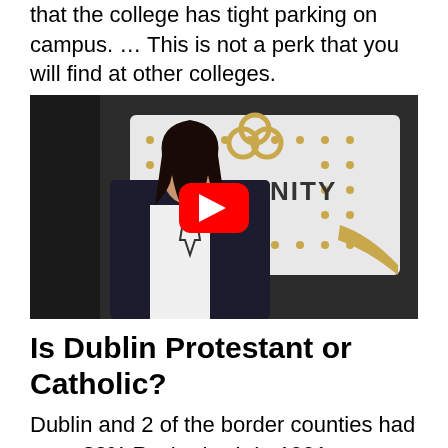that the college has tight parking on campus. … This is not a perk that you will find at other colleges.
[Figure (screenshot): Video thumbnail showing a woman in a dark blazer standing in front of a Trinity College branded backdrop with gold dots, with a YouTube play button overlay in the center.]
Is Dublin Protestant or Catholic?
Dublin and 2 of the border counties had over 20% Protestant. In 1991, however, all but